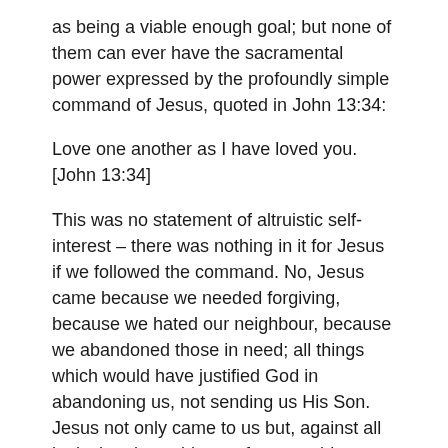as being a viable enough goal; but none of them can ever have the sacramental power expressed by the profoundly simple command of Jesus, quoted in John 13:34:
Love one another as I have loved you. [John 13:34]
This was no statement of altruistic self-interest – there was nothing in it for Jesus if we followed the command. No, Jesus came because we needed forgiving, because we hated our neighbour, because we abandoned those in need; all things which would have justified God in abandoning us, not sending us His Son. Jesus not only came to us but, against all logic, he also said sorry for us, to his Father:
Forgive them, for they know not what they do. [Luke 23:24]